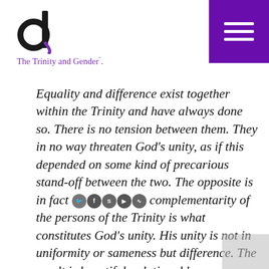The Trinity and Gender".
Equality and difference exist together within the Trinity and have always done so. There is no tension between them. They in no way threaten God’s unity, as if this depended on some kind of precarious stand-off between the two. The opposite is in fact [social icons] complementarity of the persons of the Trinity is what constitutes God’s unity. His unity is not in uniformity or sameness but difference. The result is beautiful, relational harmony